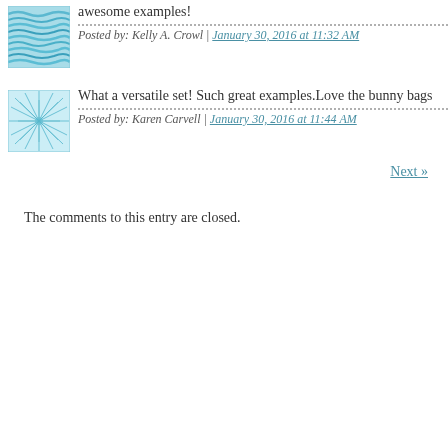awesome examples!
Posted by: Kelly A. Crowl | January 30, 2016 at 11:32 AM
[Figure (illustration): Square avatar image with teal/blue wavy horizontal lines pattern]
What a versatile set! Such great examples.Love the bunny bags
Posted by: Karen Carvell | January 30, 2016 at 11:44 AM
[Figure (illustration): Square avatar image with teal/cyan radial starburst lines pattern on light background]
Next »
The comments to this entry are closed.